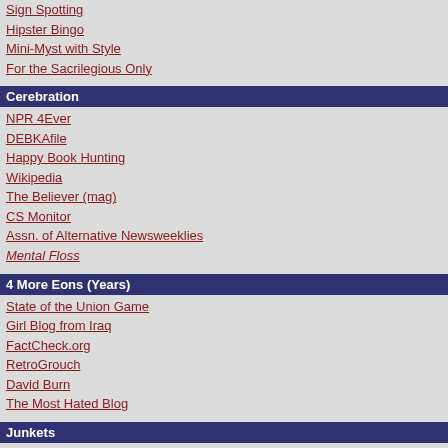Sign Spotting
Hipster Bingo
Mini-Myst with Style
For the Sacrilegious Only
Cerebration
NPR 4Ever
DEBKAfile
Happy Book Hunting
Wikipedia
The Believer (mag)
CS Monitor
Assn. of Alternative Newsweeklies
Mental Floss
4 More Eons (Years)
State of the Union Game
Girl Blog from Iraq
FactCheck.org
RetroGrouch
David Burn
The Most Hated Blog
Junkets
Document your Odysseys
Spring '05, Baby
DC GoGs
Nat'l Gallery Films
DC Discount Tix
City (& Country) Trails
Del Ray Dreamery
9:30 Club & Black Cat